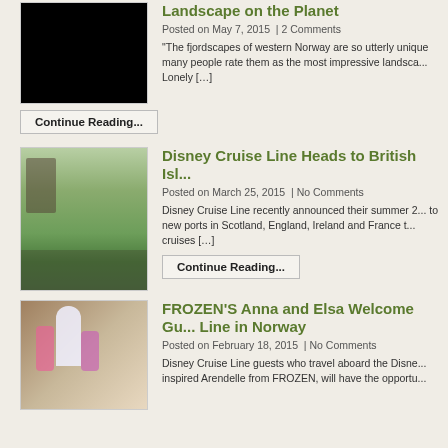[Figure (photo): Black rectangle placeholder image for Norway fjord landscape post]
Landscape on the Planet
Posted on May 7, 2015  |  2 Comments
"The fjordscapes of western Norway are so utterly unique many people rate them as the most impressive landscape Lonely [...]
Continue Reading...
[Figure (photo): Photo of Disney character meetup in grassy outdoor setting for Disney Cruise British Isles post]
Disney Cruise Line Heads to British Isl...
Posted on March 25, 2015  |  No Comments
Disney Cruise Line recently announced their summer 2... to new ports in Scotland, England, Ireland and France t... cruises [...]
Continue Reading...
[Figure (photo): Photo of Elsa and Anna from Frozen with children guests in Norway setting for Disney Cruise post]
FROZEN'S Anna and Elsa Welcome Gu... Line in Norway
Posted on February 18, 2015  |  No Comments
Disney Cruise Line guests who travel aboard the Disne... inspired Arendelle from FROZEN, will have the opportu...